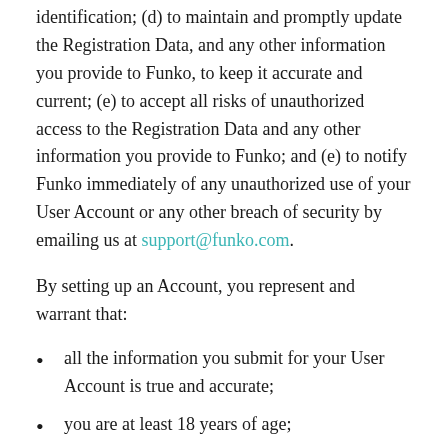identification; (d) to maintain and promptly update the Registration Data, and any other information you provide to Funko, to keep it accurate and current; (e) to accept all risks of unauthorized access to the Registration Data and any other information you provide to Funko; and (e) to notify Funko immediately of any unauthorized use of your User Account or any other breach of security by emailing us at support@funko.com.
By setting up an Account, you represent and warrant that:
all the information you submit for your User Account is true and accurate;
you are at least 18 years of age;
you have reviewed these Terms; and
you are fully able and competent to enter into the terms, conditions, obligations,